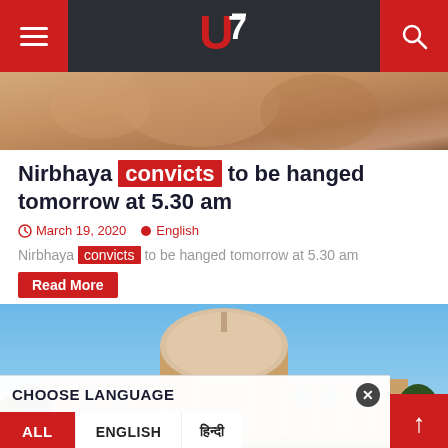U7 News website header with hamburger menu, logo, and search icon
[Figure (photo): Close-up photo of a person's face, blurred/partial view]
Nirbhaya convicts to be hanged tomorrow at 5.30 am
March 19, 2020  English
Nirbhaya convicts to be hanged tomorrow at 5.30 am
Read More
[Figure (photo): Photo of the Supreme Court of India building with dome, columns, trees, and blue sky]
CHOOSE LANGUAGE  ALL  ENGLISH  हिन्दी